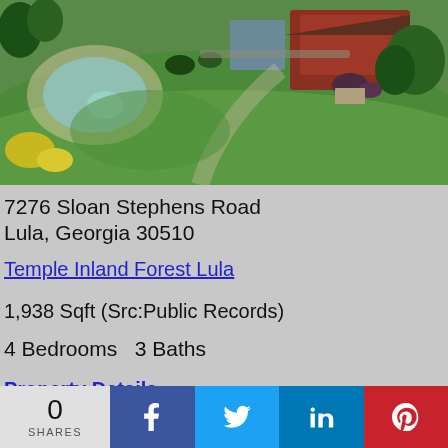[Figure (photo): Aerial drone photograph of a residential property at 7276 Sloan Stephens Road showing a large brick house with a kidney-shaped pool, landscaped yard with green lawn, trees, and garden beds]
7276 Sloan Stephens Road
Lula, Georgia 30510
Temple Inland Forest Lula
1,938 Sqft (Src:Public Records)
4 Bedrooms   3 Baths
Property Details
Request Information
0
SHARES